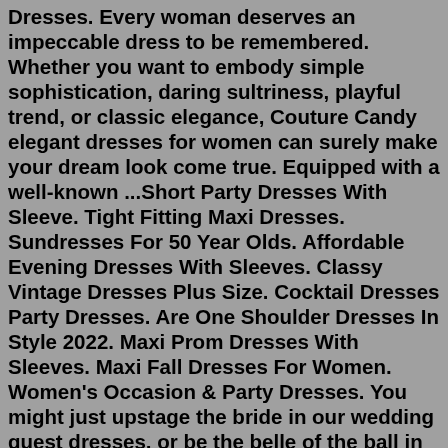Dresses. Every woman deserves an impeccable dress to be remembered. Whether you want to embody simple sophistication, daring sultriness, playful trend, or classic elegance, Couture Candy elegant dresses for women can surely make your dream look come true. Equipped with a well-known ...Short Party Dresses With Sleeve. Tight Fitting Maxi Dresses. Sundresses For 50 Year Olds. Affordable Evening Dresses With Sleeves. Classy Vintage Dresses Plus Size. Cocktail Dresses Party Dresses. Are One Shoulder Dresses In Style 2022. Maxi Prom Dresses With Sleeves. Maxi Fall Dresses For Women. Women's Occasion & Party Dresses. You might just upstage the bride in our wedding guest dresses, or be the belle of the ball in our prom dresses. From party dresses and evening dresses to graduation dresses or gowns-nab a 'wow' frock for waaay less at TK. Dresses. Dresses Clearance.Shop affordable evening dresses for women from the range of colours and styles at Ever-Pretty UK. Elegant long evening dresses, sexy short evening gowns and plus size dresses are available. Green